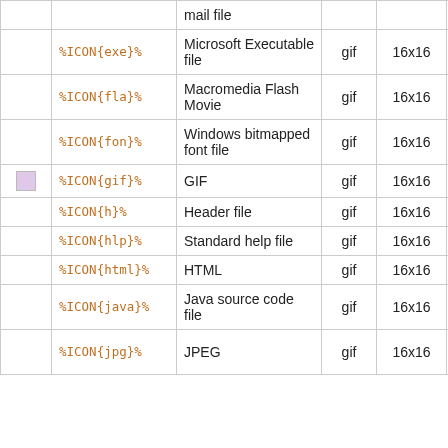|  | Variable | Description | Type | Size | Aliases |
| --- | --- | --- | --- | --- | --- |
|  |  | mail file |  |  |  |
|  | %ICON{exe}% | Microsoft Executable file | gif | 16x16 |  |
|  | %ICON{fla}% | Macromedia Flash Movie | gif | 16x16 |  |
|  | %ICON{fon}% | Windows bitmapped font file | gif | 16x16 |  |
| [icon] | %ICON{gif}% | GIF | gif | 16x16 | pcx |
|  | %ICON{h}% | Header file | gif | 16x16 |  |
|  | %ICON{hlp}% | Standard help file | gif | 16x16 |  |
|  | %ICON{html}% | HTML | gif | 16x16 | htm, shtml |
|  | %ICON{java}% | Java source code file | gif | 16x16 | class |
|  | %ICON{jpg}% | JPEG | gif | 16x16 | jfif, jpe, jpeg |